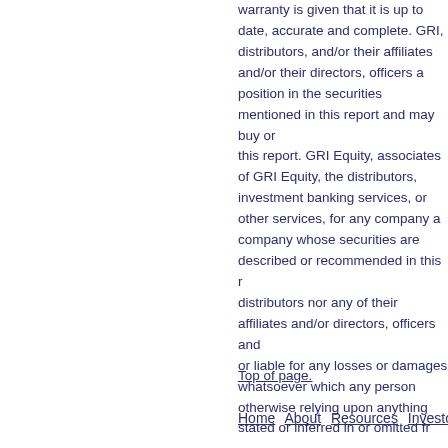warranty is given that it is up to date, accurate and complete. GRI, distributors, and/or their affiliates and/or their directors, officers a position in the securities mentioned in this report and may buy or this report. GRI Equity, associates of GRI Equity, the distributors, investment banking services, or other services, for any company a company whose securities are described or recommended in this r distributors nor any of their affiliates and/or directors, officers and or liable for any losses or damages whatsoever which any person otherwise relying upon anything stated or inferred in or omitted fr
Top of page.
Home   About   Resources   Investors   Busin